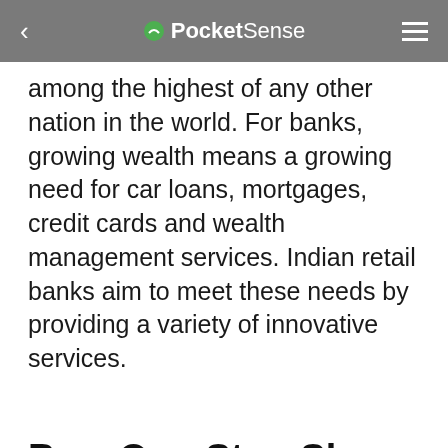PocketSense
among the highest of any other nation in the world. For banks, growing wealth means a growing need for car loans, mortgages, credit cards and wealth management services. Indian retail banks aim to meet these needs by providing a variety of innovative services.
Be a One-Stop Shop for Consumers